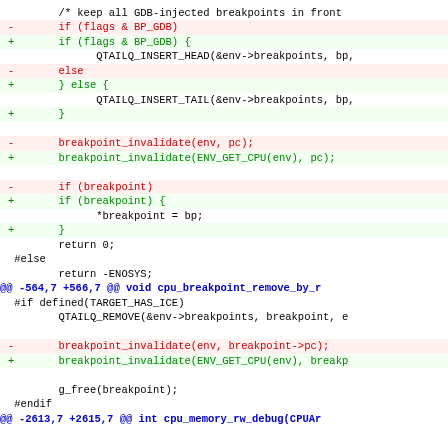[Figure (screenshot): A git diff / code patch showing changes to C source code for CPU breakpoint handling. Lines in red with '-' markers are removed lines, lines in green with '+' markers are added lines, black lines are context. Hunk headers are shown in blue. The diff shows modifications to breakpoint insertion (QTAILQ_INSERT_HEAD/TAIL), breakpoint_invalidate calls (adding ENV_GET_CPU wrapper), and similar changes in cpu_breakpoint_remove_by_r function.]